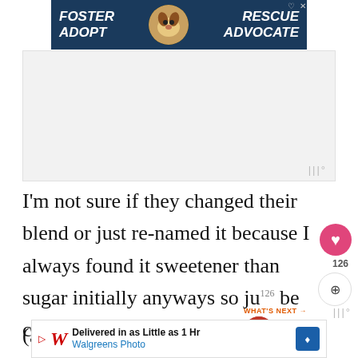[Figure (other): Advertisement banner: dark blue background with text 'FOSTER ADOPT' on left, dog photo in circle center, 'RESCUE ADVOCATE' on right, with heart and X icons]
[Figure (other): Gray advertisement placeholder area below the foster/adopt banner]
I'm not sure if they changed their blend or just re-named it because I always found it sweetener than sugar initially anyways so just be careful when adding this, maybe start with less and see if they need more.
(3/4 cup is generally a perfect amount for any sw... ate
[Figure (other): Walgreens Photo advertisement: 'Delivered in as Little as 1 Hr' with Walgreens logo and navigation arrow]